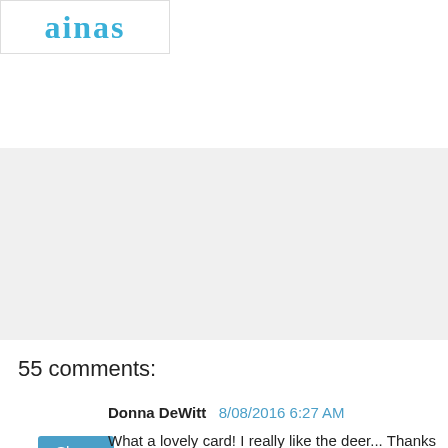[Figure (logo): Stylized cursive logo in teal/blue color reading 'aina' or similar text, inside a white box with border]
Share
55 comments:
Donna DeWitt  8/08/2016 6:27 AM
What a lovely card! I really like the deer... Thanks for sharing with us!
Reply
Linda Carson  8/08/2016 7:25 AM
Wow! Love the accidental background! Beautiful card...as always!